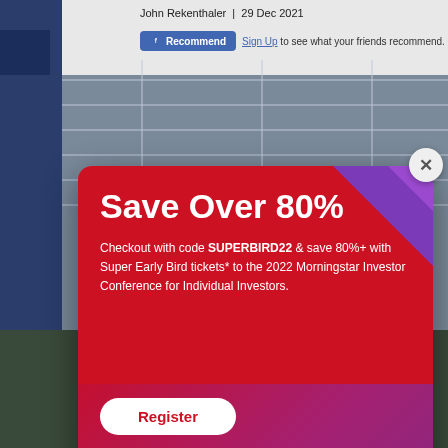John Rekenthaler | 29 Dec 2021
Sign Up to see what your friends recommend.
[Figure (screenshot): Morningstar website background with navigation sidebar, horizontal lines, and a photo of a person in a suit at the bottom]
Save Over 80%
Checkout with code SUPERBIRD22 & save 80%+ with Super Early Bird tickets* to the 2022 Morningstar Investor Conference for Individual Investors.
Register
*Tickets sold on a first-come, first-serve basis. Morningstar reserves the right to close or extend this offer at its discretion.
[Figure (logo): MORNINGSTAR logo in white text]